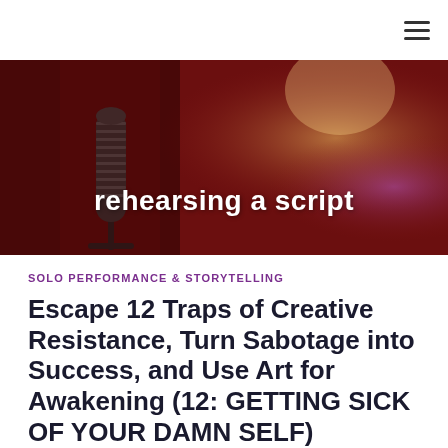≡
[Figure (photo): Dark red background with a vintage microphone on the left and blurred stage lights on the right. Text overlay reads 'rehearsing a script' in bold white.]
SOLO PERFORMANCE & STORYTELLING
Escape 12 Traps of Creative Resistance, Turn Sabotage into Success, and Use Art for Awakening (12: GETTING SICK OF YOUR DAMN SELF)